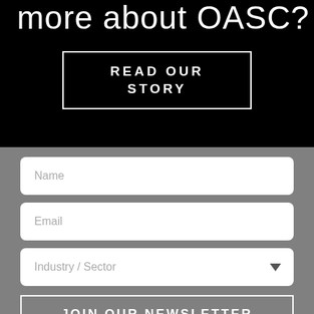more about OASC?
READ OUR STORY
[Figure (screenshot): Web form with Name, Email, Industry/Sector fields and JOIN OUR NEWSLETTER button on gray background]